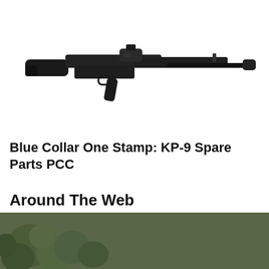[Figure (photo): Black AR-style rifle / pistol carbine with red dot sight and long barrel on white background]
Blue Collar One Stamp: KP-9 Spare Parts PCC
Around The Web
[Figure (screenshot): Thumbnail of green grenade-like objects (bottom left) overlaid with a dark video player error overlay reading 'FAST DRILL: CAR' and 'Uh oh, something went wrong' with playback controls at 0:00, a close (x) button, and a green thumbnail icon in the top right]
FAST DRILL: CAR — Uh oh, something went wrong — 0:00